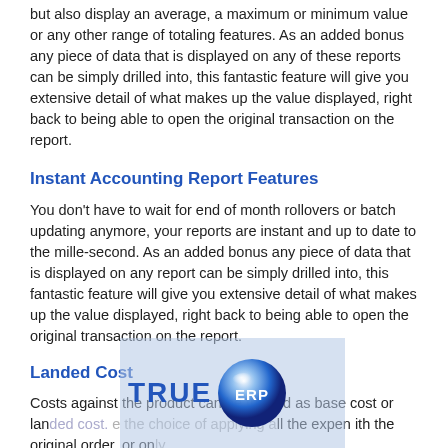but also display an average, a maximum or minimum value or any other range of totaling features. As an added bonus any piece of data that is displayed on any of these reports can be simply drilled into, this fantastic feature will give you extensive detail of what makes up the value displayed, right back to being able to open the original transaction on the report.
Instant Accounting Report Features
You don't have to wait for end of month rollovers or batch updating anymore, your reports are instant and up to date to the mille-second. As an added bonus any piece of data that is displayed on any report can be simply drilled into, this fantastic feature will give you extensive detail of what makes up the value displayed, right back to being able to open the original transaction on the report.
Landed Cost
Costs against the product can be treated as base cost or landed cost. [logo overlay] the choice of applying all the expenses [with the original order, or only applying a sma[ll number] of them. Landed costs can be adde[d to every...] giving you correct stock value.
[Figure (logo): TRUE ERP logo with blue sphere icon and text]